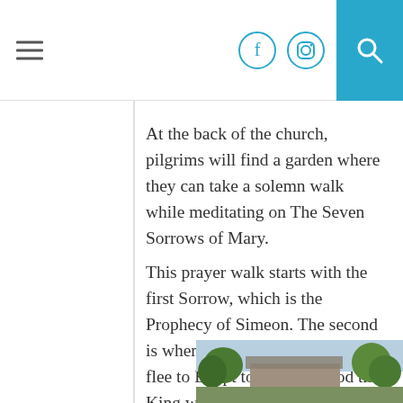[Navigation bar with hamburger menu, Facebook icon, Instagram icon, and search button]
At the back of the church, pilgrims will find a garden where they can take a solemn walk while meditating on The Seven Sorrows of Mary.
This prayer walk starts with the first Sorrow, which is the Prophecy of Simeon. The second is when the Holy Family had to flee to Egypt to escape Herod the King who wanted to kill the child.
[Figure (photo): Outdoor photograph showing trees and a building structure with a light sky background, partially visible at the bottom of the page.]